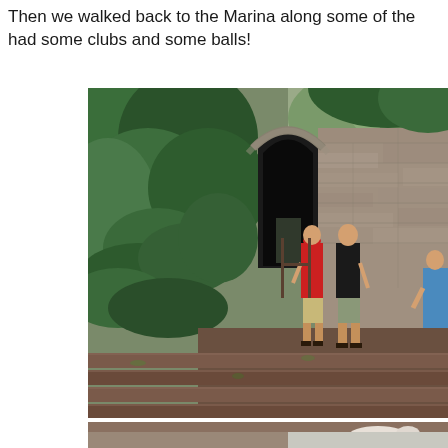Then we walked back to the Marina along some of the had some clubs and some balls!
[Figure (photo): Outdoor scene showing a stone tunnel archway with lush green vegetation on the left side. Steps lead up to the tunnel entrance. Two people (one in a red shirt and one in a dark shirt) are walking toward the tunnel. A third person is partially visible on the right edge. The steps appear to be made of reddish brick.]
[Figure (photo): Partial view of a lower photo showing what appears to be a roofline or structure with a goat or animal visible.]